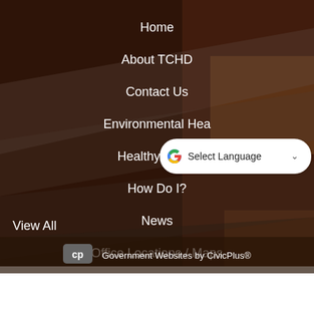Home
About TCHD
Contact Us
Environmental Hea…
Healthy Living
How Do I?
News
Office Locations / Maps
View All
[Figure (screenshot): Google Translate widget showing 'Select Language' dropdown with Google G logo]
Government Websites by CivicPlus®